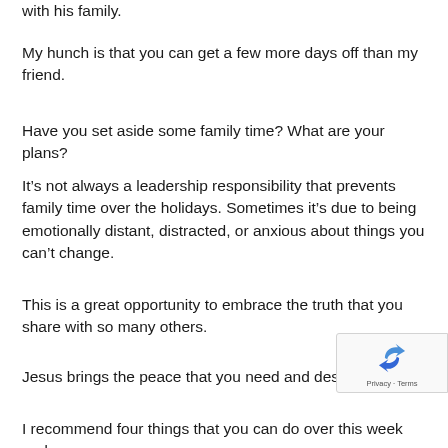with his family.
My hunch is that you can get a few more days off than my friend.
Have you set aside some family time? What are your plans?
It’s not always a leadership responsibility that prevents family time over the holidays. Sometimes it’s due to being emotionally distant, distracted, or anxious about things you can’t change.
This is a great opportunity to embrace the truth that you share with so many others.
Jesus brings the peace that you need and desire.
I recommend four things that you can do over this week and